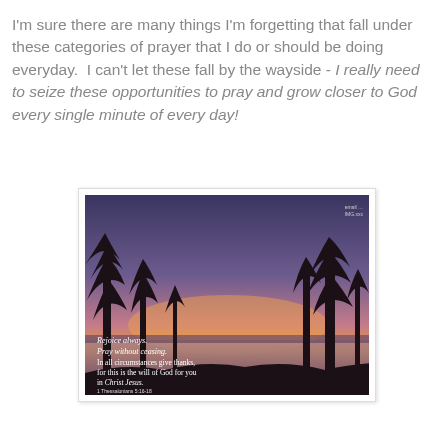I'm sure there are many things I'm forgetting that fall under these categories of prayer that I do or should be doing everyday.  I can't let these fall by the wayside - I really need to seize these opportunities to pray and grow closer to God every single minute of every day!
[Figure (photo): A dusk/sunset landscape photograph showing silhouetted pine trees against a purple and orange sky with a body of water visible in the background. Overlaid text reads: 'Rejoice always. Pray without ceasing. In all circumstances give thanks, for this is the will of God for you in Christ Jesus. 1 Thessalonians 5:16-18']